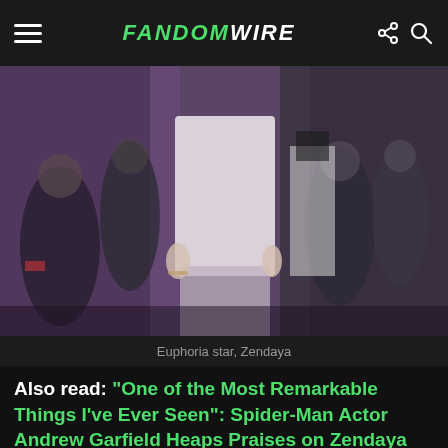FandomWire
[Figure (photo): Blurred crowd at a red carpet event, cropped photo showing a woman in a white top and patterned skirt]
Euphoria star, Zendaya
Also read: “One of the Most Remarkable Things I’ve Ever Seen”: Spider-Man Actor Andrew Garfield Heaps Praises on Zendaya For Euphoria
Social Media Frenzy About Zendaya’s Fake Pregnancy